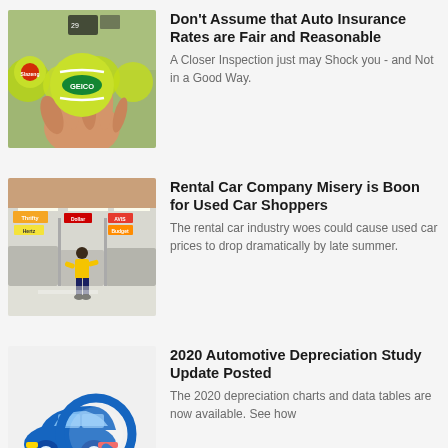[Figure (photo): Hand holding green tennis balls with GEICO logo, grocery store background]
Don't Assume that Auto Insurance Rates are Fair and Reasonable
A Closer Inspection just may Shock you - and Not in a Good Way.
[Figure (photo): Rental car company counter area with employee in yellow shirt, company logos visible including Thrifty, Hertz]
Rental Car Company Misery is Boon for Used Car Shoppers
The rental car industry woes could cause used car prices to drop dramatically by late summer.
[Figure (illustration): Blue car icon with magnifying glass, automotive depreciation study graphic]
2020 Automotive Depreciation Study Update Posted
The 2020 depreciation charts and data tables are now available. See how